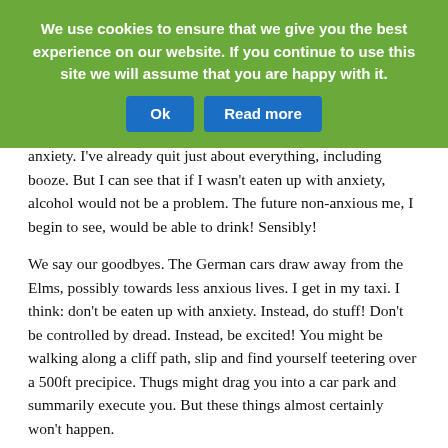We use cookies to ensure that we give you the best experience on our website. If you continue to use this site we will assume that you are happy with it.
anxiety. I've already quit just about everything, including booze. But I can see that if I wasn't eaten up with anxiety, alcohol would not be a problem. The future non-anxious me, I begin to see, would be able to drink! Sensibly!
We say our goodbyes. The German cars draw away from the Elms, possibly towards less anxious lives. I get in my taxi. I think: don't be eaten up with anxiety. Instead, do stuff! Don't be controlled by dread. Instead, be excited! You might be walking along a cliff path, slip and find yourself teetering over a 500ft precipice. Thugs might drag you into a car park and summarily execute you. But these things almost certainly won't happen.
Five weeks later, I walk down my hall, and go through the front door. I have an urge to check my cooker, my plugs and my toaster, but it's much smaller. It rears up; I smack it down. Do I think this is worth £2,800? Over a lifetime, well,